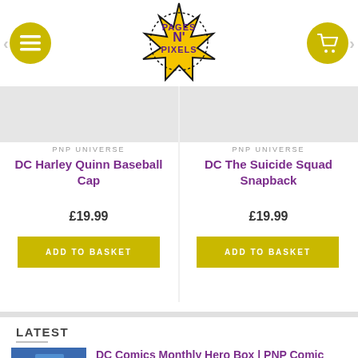[Figure (logo): Pages N Pixels comic store logo — burst star shape in yellow/black with purple text]
PNP UNIVERSE
DC Harley Quinn Baseball Cap
£19.99
ADD TO BASKET
PNP UNIVERSE
DC The Suicide Squad Snapback
£19.99
ADD TO BASKET
LATEST
DC Comics Monthly Hero Box | PNP Comic Loot Box (Age 14+ Recommended)
From: £34.00 / month